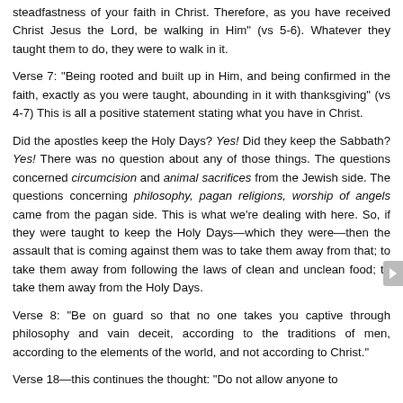steadfastness of your faith in Christ. Therefore, as you have received Christ Jesus the Lord, be walking in Him" (vs 5-6). Whatever they taught them to do, they were to walk in it.
Verse 7: "Being rooted and built up in Him, and being confirmed in the faith, exactly as you were taught, abounding in it with thanksgiving" (vs 4-7) This is all a positive statement stating what you have in Christ.
Did the apostles keep the Holy Days? Yes! Did they keep the Sabbath? Yes! There was no question about any of those things. The questions concerned circumcision and animal sacrifices from the Jewish side. The questions concerning philosophy, pagan religions, worship of angels came from the pagan side. This is what we're dealing with here. So, if they were taught to keep the Holy Days—which they were—then the assault that is coming against them was to take them away from that; to take them away from following the laws of clean and unclean food; to take them away from the Holy Days.
Verse 8: "Be on guard so that no one takes you captive through philosophy and vain deceit, according to the traditions of men, according to the elements of the world, and not according to Christ."
Verse 18—this continues the thought: "Do not allow anyone to